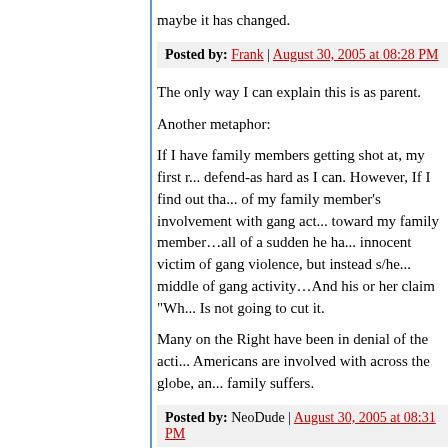maybe it has changed.
Posted by: Frank | August 30, 2005 at 08:28 PM
The only way I can explain this is as parent.
Another metaphor:
If I have family members getting shot at, my first r... defend-as hard as I can. However, If I find out tha... of my family member's involvement with gang act... toward my family member…all of a sudden he ha... innocent victim of gang violence, but instead s/he... middle of gang activity…And his or her claim "Wh... Is not going to cut it.
Many on the Right have been in denial of the acti... Americans are involved with across the globe, an... family suffers.
Posted by: NeoDude | August 30, 2005 at 08:31 PM
I don't know if anyone has read what I posted in t... the way, but it's become clear in the last few hour